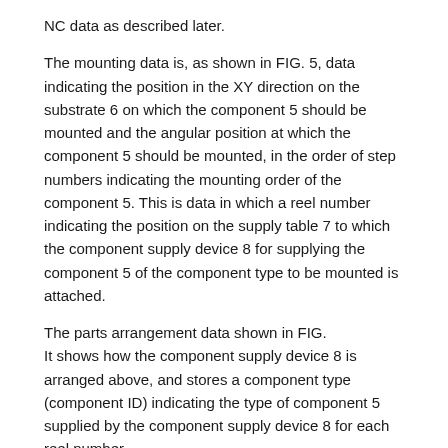NC data as described later.
The mounting data is, as shown in FIG. 5, data indicating the position in the XY direction on the substrate 6 on which the component 5 should be mounted and the angular position at which the component 5 should be mounted, in the order of step numbers indicating the mounting order of the component 5. This is data in which a reel number indicating the position on the supply table 7 to which the component supply device 8 for supplying the component 5 of the component type to be mounted is attached.
The parts arrangement data shown in FIG.
It shows how the component supply device 8 is arranged above, and stores a component type (component ID) indicating the type of component 5 supplied by the component supply device 8 for each reel number.
The component data shown in FIG. 7 is created and stored in the RAM 37 for each component type distinguished by the component ID, and the chip component 5 of the component type is printed on the printed circuit board 6. Various data are stored so that the work to be performed by each device at each station to be mounted on the